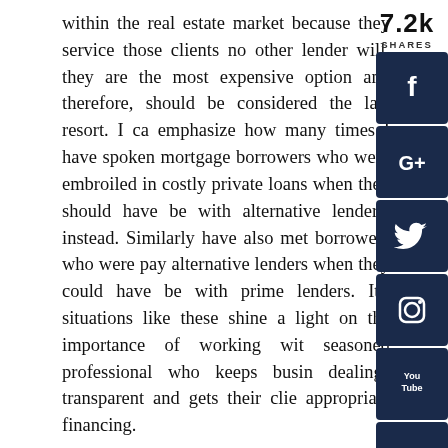within the real estate market because they service those clients no other lender will, they are the most expensive option and therefore, should be considered the last resort. I ca emphasize how many times I have spoken mortgage borrowers who were embroiled in costly private loans when they should have be with alternative lenders, instead. Similarly have also met borrowers who were pa alternative lenders when they could have be with prime lenders. It's situations like these shine a light on the importance of working wi seasoned professional who keeps busin dealings transparent and gets their cli appropriate financing.

Private lenders also charge the highest int rates that are usually substantially higher t those of alternative lenders that already servi
[Figure (infographic): Social share count showing 7.2k SHARES, followed by social media buttons: Facebook (f), Google+ (G+), Twitter (bird), Instagram (camera), YouTube (You Tube logo), LinkedIn (in)]